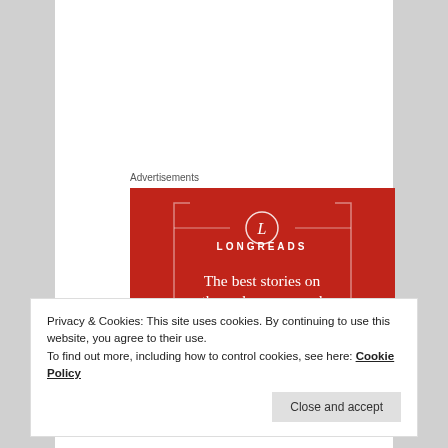Advertisements
[Figure (illustration): Longreads advertisement banner with red background. Shows the Longreads logo (letter L in a circle) with the brand name LONGREADS and tagline: The best stories on the web – ours, and everyone else's.]
Privacy & Cookies: This site uses cookies. By continuing to use this website, you agree to their use.
To find out more, including how to control cookies, see here: Cookie Policy
Close and accept